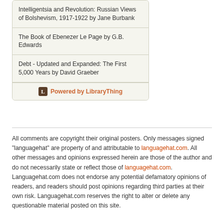Intelligentsia and Revolution: Russian Views of Bolshevism, 1917-1922 by Jane Burbank
The Book of Ebenezer Le Page by G.B. Edwards
Debt - Updated and Expanded: The First 5,000 Years by David Graeber
Powered by LibraryThing
All comments are copyright their original posters. Only messages signed "languagehat" are property of and attributable to languagehat.com. All other messages and opinions expressed herein are those of the author and do not necessarily state or reflect those of languagehat.com. Languagehat.com does not endorse any potential defamatory opinions of readers, and readers should post opinions regarding third parties at their own risk. Languagehat.com reserves the right to alter or delete any questionable material posted on this site.